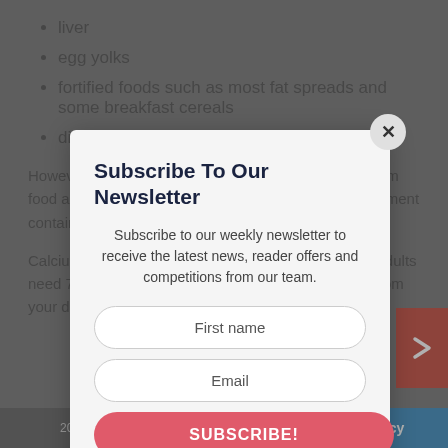liver
egg yolks
fortified foods such as most fat spreads and some breakfast cereals
dietary supplements
However, it can be difficult to get enough vitamin D from food alone, so people should consider taking a supplement containing 10 micrograms of vitamin D.
Calcium is also important for bone and heart health. Adults need 700mg a day, which you should be able to get from your daily diet. Calcium-rich foods include:
Subscribe To Our Newsletter
Subscribe to our weekly newsletter to receive the latest news, reader offers and competitions from our team.
First name
Email
SUBSCRIBE!
2022 OlderWiser Media Limited
Privacy